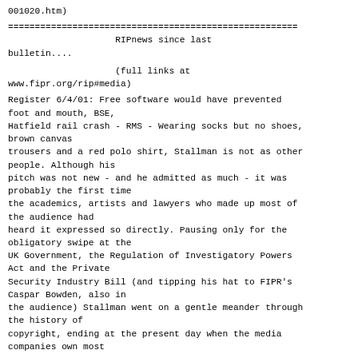001020.htm)
======================================================
                    RIPnews since last bulletin....
(full links at www.fipr.org/rip#media)
Register 6/4/01: Free software would have prevented foot and mouth, BSE,
Hatfield rail crash - RMS - Wearing socks but no shoes, brown canvas
trousers and a red polo shirt, Stallman is not as other people. Although his
pitch was not new - and he admitted as much - it was probably the first time
the academics, artists and lawyers who made up most of the audience had
heard it expressed so directly. Pausing only for the obligatory swipe at the
UK Government, the Regulation of Investigatory Powers Act and the Private
Security Industry Bill (and tipping his hat to FIPR's Caspar Bowden, also in
the audience) Stallman went on a gentle meander through the history of
copyright, ending at the present day when the media companies own most